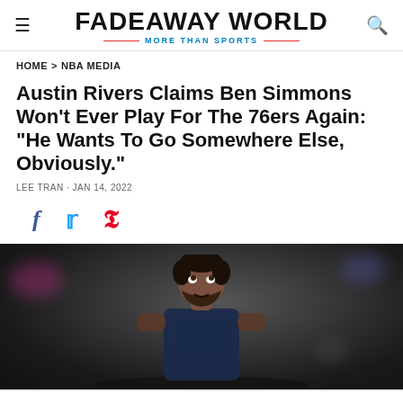FADEAWAY WORLD — MORE THAN SPORTS
HOME > NBA MEDIA
Austin Rivers Claims Ben Simmons Won't Ever Play For The 76ers Again: "He Wants To Go Somewhere Else, Obviously."
LEE TRAN · JAN 14, 2022
[Figure (photo): Close-up photo of Ben Simmons in a 76ers jersey looking upward, with a blurred crowd background]